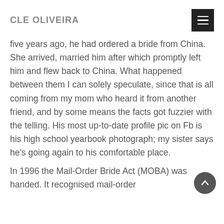CLE OLIVEIRA
five years ago, he had ordered a bride from China. She arrived, married him after which promptly left him and flew back to China. What happened between them I can solely speculate, since that is all coming from my mom who heard it from another friend, and by some means the facts got fuzzier with the telling. His most up-to-date profile pic on Fb is his high school yearbook photograph; my sister says he's going again to his comfortable place.
In 1996 the Mail-Order Bride Act (MOBA) was handed. It recognised mail-order